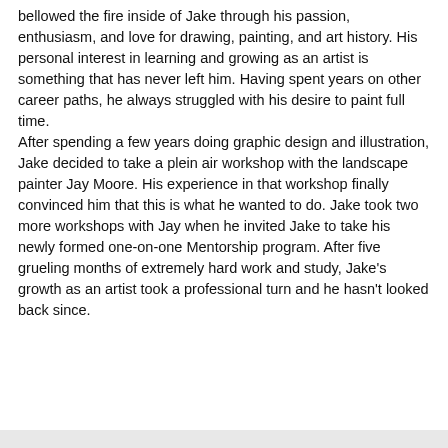bellowed the fire inside of Jake through his passion, enthusiasm, and love for drawing, painting, and art history. His personal interest in learning and growing as an artist is something that has never left him. Having spent years on other career paths, he always struggled with his desire to paint full time. After spending a few years doing graphic design and illustration, Jake decided to take a plein air workshop with the landscape painter Jay Moore. His experience in that workshop finally convinced him that this is what he wanted to do. Jake took two more workshops with Jay when he invited Jake to take his newly formed one-on-one Mentorship program. After five grueling months of extremely hard work and study, Jake's growth as an artist took a professional turn and he hasn't looked back since.